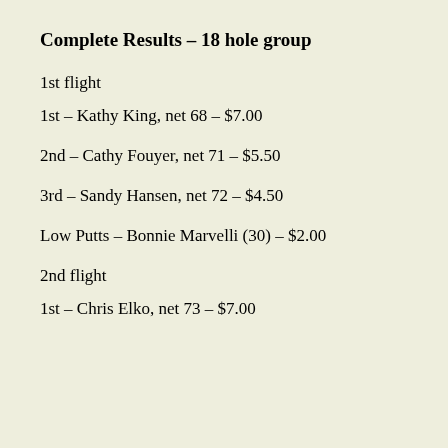Complete Results – 18 hole group
1st flight
1st – Kathy King, net 68 – $7.00
2nd – Cathy Fouyer, net 71 – $5.50
3rd – Sandy Hansen, net 72 – $4.50
Low Putts – Bonnie Marvelli (30) – $2.00
2nd flight
1st – Chris Elko, net 73 – $7.00